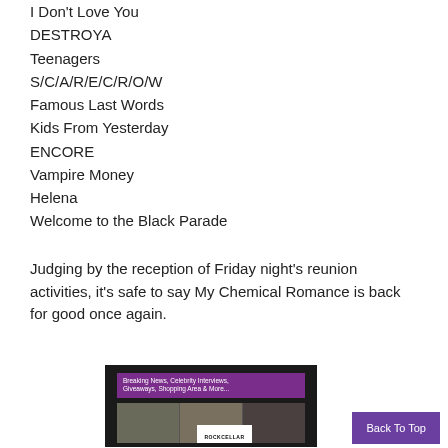I Don't Love You
DESTROYA
Teenagers
S/C/A/R/E/C/R/O/W
Famous Last Words
Kids From Yesterday
ENCORE
Vampire Money
Helena
Welcome to the Black Parade
Judging by the reception of Friday night’s reunion activities, it’s safe to say My Chemical Romance is back for good once again.
[Figure (screenshot): Screenshot of a website featuring Breaking News, Celebrity Interviews, Giveaways, Shopping Area & More... with photos of musicians and a ROCKCELLAR logo]
Back To Top